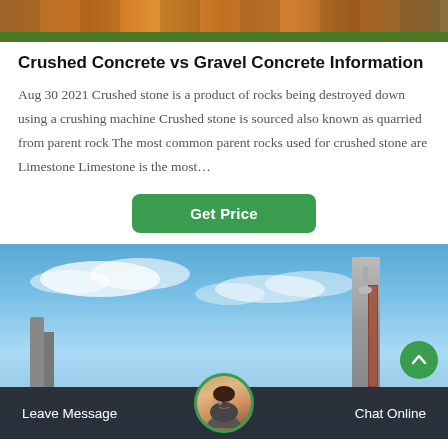[Figure (photo): Top partial image of orange construction/crushing machinery outdoors]
Crushed Concrete vs Gravel Concrete Information
Aug 30 2021 Crushed stone is a product of rocks being destroyed down using a crushing machine Crushed stone is sourced also known as quarried from parent rock The most common parent rocks used for crushed stone are Limestone Limestone is the most…
[Figure (photo): Bottom image showing industrial tower/plant structure against blue sky with clouds, with a green scroll-up button and a footer bar showing Leave Message, a customer service avatar, and Chat Online]